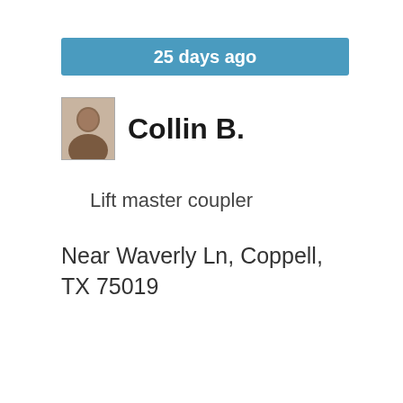25 days ago
Collin B.
Lift master coupler
Near Waverly Ln, Coppell, TX 75019